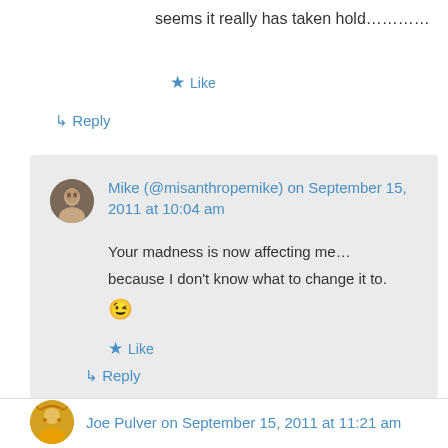seems it really has taken hold…………
★ Like
↳ Reply
Mike (@misanthropemike) on September 15, 2011 at 10:04 am
Your madness is now affecting me… because I don't know what to change it to. 😉
★ Like
↳ Reply
Joe Pulver on September 15, 2011 at 11:21 am